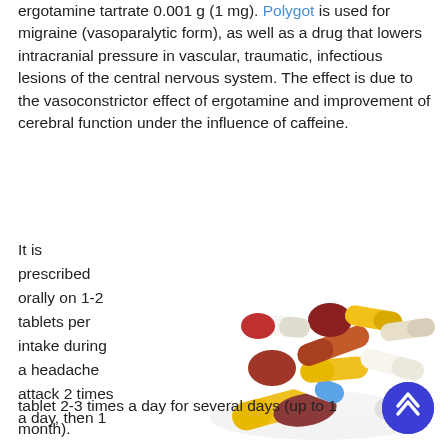ergotamine tartrate 0.001 g (1 mg). Polygot is used for migraine (vasoparalytic form), as well as a drug that lowers intracranial pressure in vascular, traumatic, infectious lesions of the central nervous system. The effect is due to the vasoconstrictor effect of ergotamine and improvement of cerebral function under the influence of caffeine.
It is prescribed orally on 1-2 tablets per intake during a headache attack 2 times a day, then 1 tablet 2-3 times a day for several days (up to 1 month).
[Figure (photo): A pile of assorted colorful pills and capsules — red, white, yellow, blue, brown, and mixed colors — scattered on a white background.]